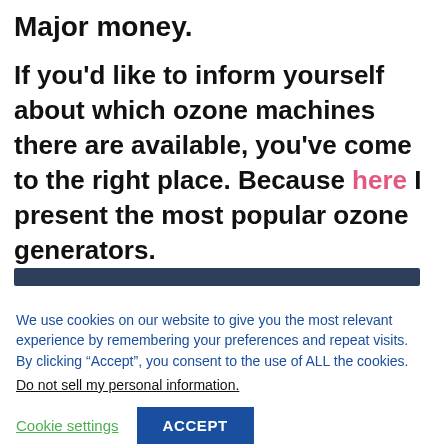Major money.
If you'd like to inform yourself about which ozone machines there are available, you've come to the right place. Because here I present the most popular ozone generators.
[Figure (other): Dark navy horizontal bar divider]
We use cookies on our website to give you the most relevant experience by remembering your preferences and repeat visits. By clicking “Accept”, you consent to the use of ALL the cookies.
Do not sell my personal information.
Cookie settings
ACCEPT